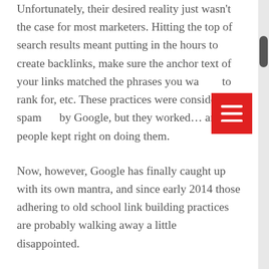Unfortunately, their desired reality just wasn't the case for most marketers. Hitting the top of search results meant putting in the hours to create backlinks, make sure the anchor text of your links matched the phrases you wanted to rank for, etc. These practices were considered spammy by Google, but they worked… and so people kept right on doing them.
Now, however, Google has finally caught up with its own mantra, and since early 2014 those adhering to old school link building practices are probably walking away a little disappointed.
For Google, it's a win.
For us marketers, it makes things more complicated, but then again...